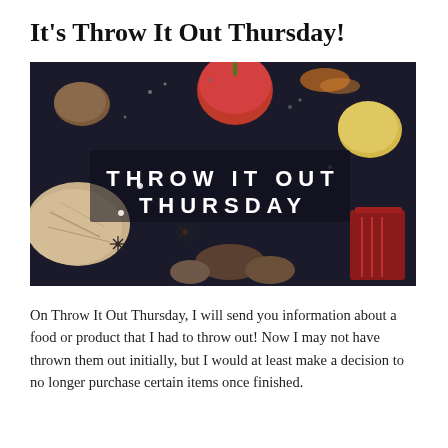It's Throw It Out Thursday!
[Figure (photo): Dark moody food flatlay image with various food items on a dark background. White text overlay reads 'THROW IT OUT THURSDAY' in spaced capital letters.]
On Throw It Out Thursday, I will send you information about a food or product that I had to throw out! Now I may not have thrown them out initially, but I would at least make a decision to no longer purchase certain items once finished.